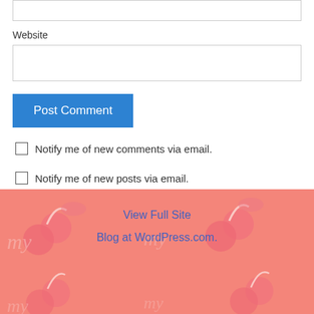Website
Post Comment
Notify me of new comments via email.
Notify me of new posts via email.
View Full Site
Blog at WordPress.com.